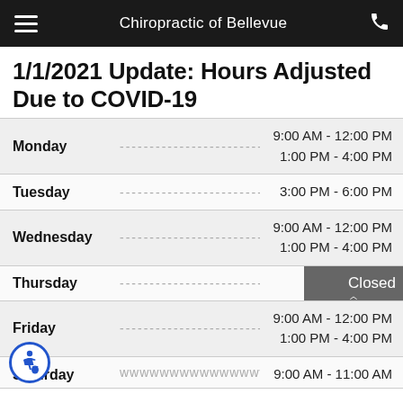Chiropractic of Bellevue
1/1/2021 Update: Hours Adjusted Due to COVID-19
| Day |  | Hours |
| --- | --- | --- |
| Monday | ... | 9:00 AM - 12:00 PM
1:00 PM - 4:00 PM |
| Tuesday | ... | 3:00 PM - 6:00 PM |
| Wednesday | ... | 9:00 AM - 12:00 PM
1:00 PM - 4:00 PM |
| Thursday | ... | Closed |
| Friday | ... | 9:00 AM - 12:00 PM
1:00 PM - 4:00 PM |
| Saturday | ... | 9:00 AM - 11:00 AM |